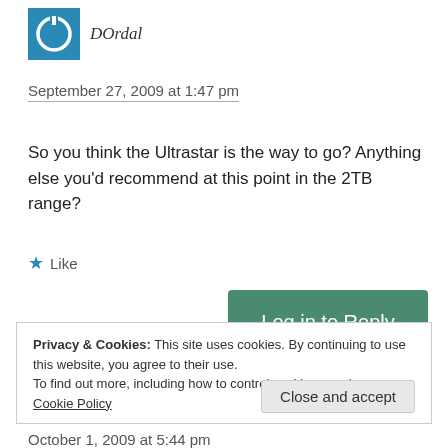[Figure (logo): Blue square avatar with white power/circle icon for user DOrdal]
DOrdal
September 27, 2009 at 1:47 pm
So you think the Ultrastar is the way to go? Anything else you'd recommend at this point in the 2TB range?
★ Like
Log in to Reply
Privacy & Cookies: This site uses cookies. By continuing to use this website, you agree to their use.
To find out more, including how to control cookies, see here: Cookie Policy
Close and accept
October 1, 2009 at 5:44 pm